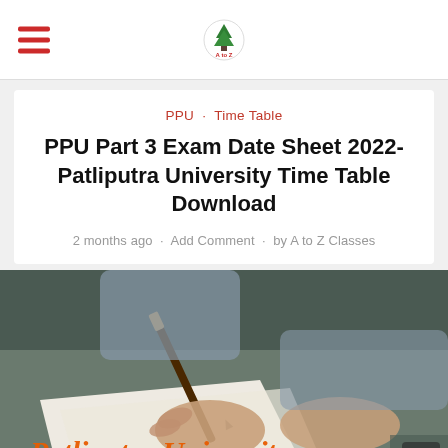PPU Part 3 Exam Date Sheet 2022- Patliputra University Time Table Download — A to Z Classes
PPU · Time Table
PPU Part 3 Exam Date Sheet 2022- Patliputra University Time Table Download
2 months ago · Add Comment · by A to Z Classes
[Figure (photo): Person writing on paper with a pen, with orange italic text overlay reading 'Patliputra University' and A to Z Classes logo at bottom]